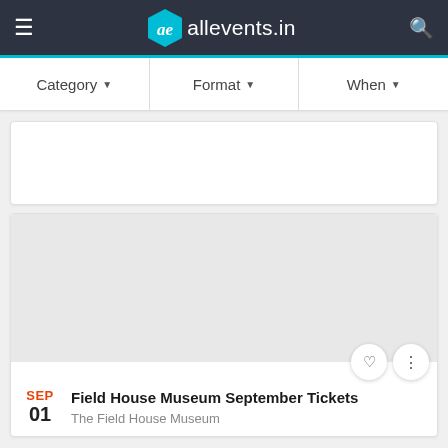allevents.in
Category ▾   Format ▾   When ▾
[Figure (screenshot): Empty white advertisement card area]
[Figure (screenshot): Gray event image placeholder for Field House Museum September Tickets]
SEP 01   Field House Museum September Tickets   The Field House Museum